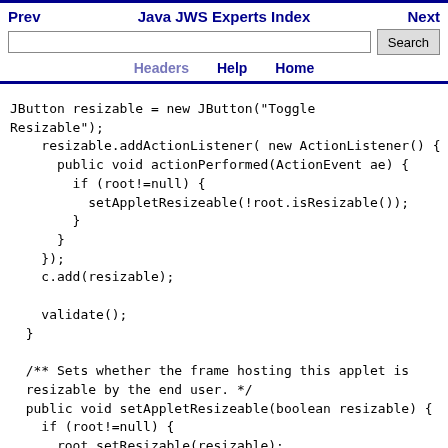Prev   Java JWS Experts Index   Next
Search bar with Headers, Help, Home navigation
JButton resizable = new JButton("Toggle Resizable");
    resizable.addActionListener( new ActionListener() {
      public void actionPerformed(ActionEvent ae) {
        if (root!=null) {
          setAppletResizeable(!root.isResizable());
        }
      }
    });
    c.add(resizable);

    validate();
  }

  /** Sets whether the frame hosting this applet is resizable by the end user. */
  public void setAppletResizeable(boolean resizable) {
    if (root!=null) {
      root.setResizable(resizable);
    }
  }